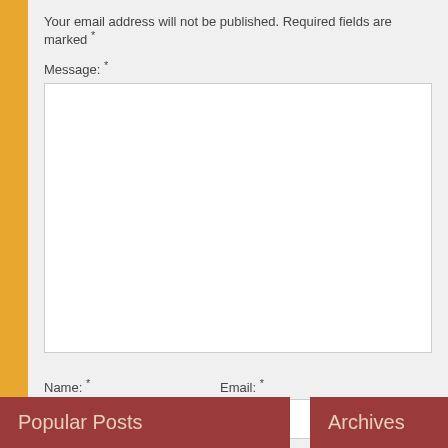Your email address will not be published. Required fields are marked *
Message: *
Name: *
Email: *
Website:
Submit Comment
Popular Posts
Archives